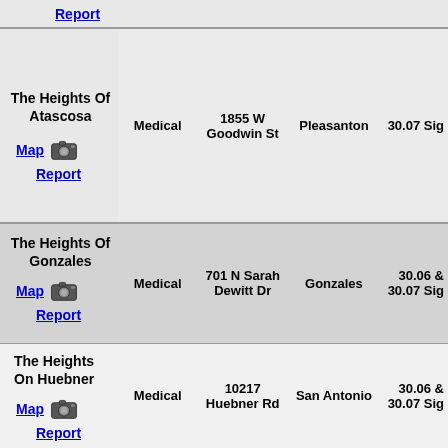| Name/Links | Type | Address | City | Sig |
| --- | --- | --- | --- | --- |
| Report |  |  |  |  |
| The Heights Of Atascosa
Map [camera] Report | Medical | 1855 W Goodwin St | Pleasanton | 30.07 Sig |
| The Heights Of Gonzales
Map [camera] Report | Medical | 701 N Sarah Dewitt Dr | Gonzales | 30.06 & 30.07 Sig |
| The Heights On Huebner
Map [camera] Report | Medical | 10217 Huebner Rd | San Antonio | 30.06 & 30.07 Sig |